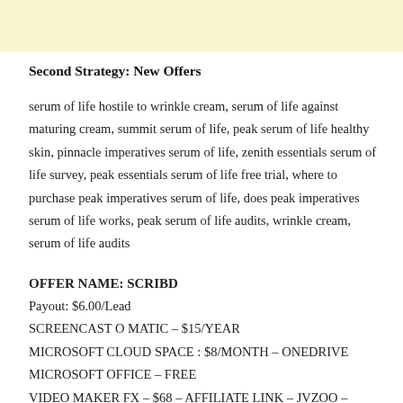[Figure (other): Yellow/cream colored banner bar at top of page]
Second Strategy: New Offers
serum of life hostile to wrinkle cream, serum of life against maturing cream, summit serum of life, peak serum of life healthy skin, pinnacle imperatives serum of life, zenith essentials serum of life survey, peak essentials serum of life free trial, where to purchase peak imperatives serum of life, does peak imperatives serum of life works, peak serum of life audits, wrinkle cream, serum of life audits
OFFER NAME: SCRIBD
Payout: $6.00/Lead
SCREENCASTOMATIC – $15/YEAR
MICROSOFT CLOUD SPACE : $8/MONTH – ONEDRIVE
MICROSOFT OFFICE – FREE
VIDEO MAKER FX – $68 – AFFILIATE LINK – JVZOO –